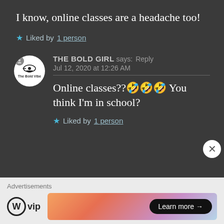I know, online classes are a headache too!
★ Liked by 1 person
THE BOLD GIRL says: Reply
Jul 12, 2020 at 12:26 AM
Online classes??🤣🤣🤣 You think I'm in school?
★ Liked by 1 person
Advertisements
[Figure (logo): WordPress VIP logo with W circle icon and 'vip' text]
[Figure (screenshot): Advertisement banner with gradient background and 'Learn more →' button]